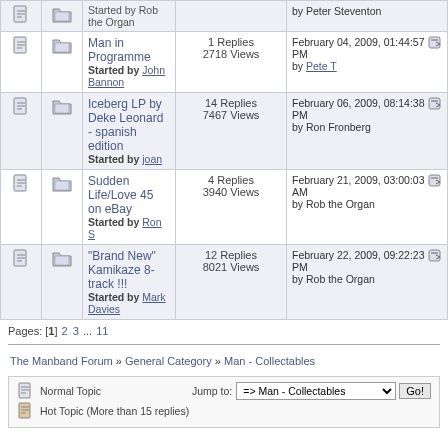|  |  | Topic | Stats | Last Post |
| --- | --- | --- | --- | --- |
|  |  | Man in Programme
Started by John Bannon | 1 Replies
2718 Views | February 04, 2009, 01:44:57 PM
by Pete T |
|  |  | Iceberg LP by Deke Leonard - spanish edition
Started by joan | 14 Replies
7467 Views | February 06, 2009, 08:14:38 PM
by Ron Fronberg |
|  |  | Sudden Life/Love 45 on eBay
Started by Ron S | 4 Replies
3940 Views | February 21, 2009, 03:00:03 AM
by Rob the Organ |
|  |  | "Brand New" Kamikaze 8-track !!!
Started by Mark Davies | 12 Replies
8021 Views | February 22, 2009, 09:22:23 PM
by Rob the Organ |
Pages: [1] 2 3 ... 11
The Manband Forum » General Category » Man - Collectables
Normal Topic | Jump to: => Man - Collectables | Go!
Hot Topic (More than 15 replies)